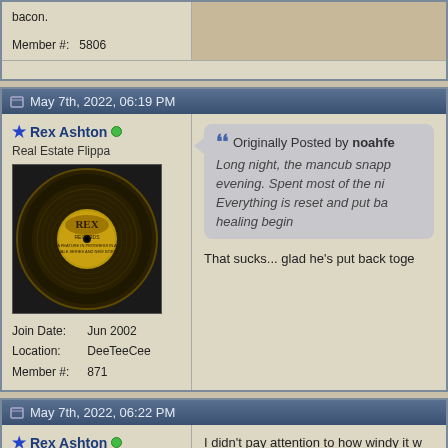bacon. Member #: 5806
May 7th, 2022, 06:19 PM
Rex Ashton — Real Estate Flippa — Join Date: Jun 2002 — Location: DeeTeeCee — Member #: 871
[Figure (photo): Circular vinyl record label with REX branding in the center]
Originally Posted by noahfe — Long night, the mancub snapp evening. Spent most of the ni Everything is reset and put ba healing begin
That sucks... glad he's put back toge
May 7th, 2022, 06:22 PM
Rex Ashton — Real Estate Flippa
I didn't pay attention to how windy it w to Aurora for Court's 3 basketball ga 35 mph on the ride home.